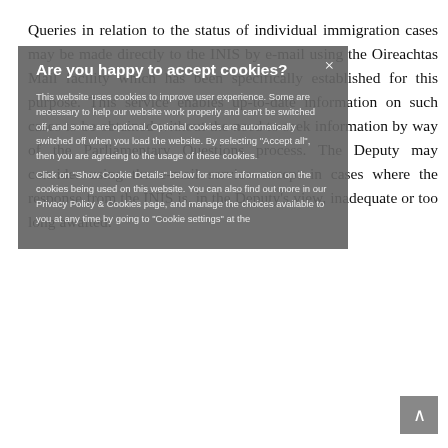Queries in relation to the status of individual immigration cases may be made directly to the INIS by e-mail using the Oireachtas Mail facility which has been specifically established for this purpose. This service enables up-to-date information on such cases to be obtained without the need to seek information by way of the Parliamentary Questions process. The Deputy may consider using the e-mail service except in cases where the response from the INIS is, in the Deputy's view, inadequate or too long awaited.
[Figure (screenshot): Cookie consent modal overlay with title 'Are you happy to accept cookies?', body text about cookie usage, close button (×), and options to show cookie details or manage cookie settings.]